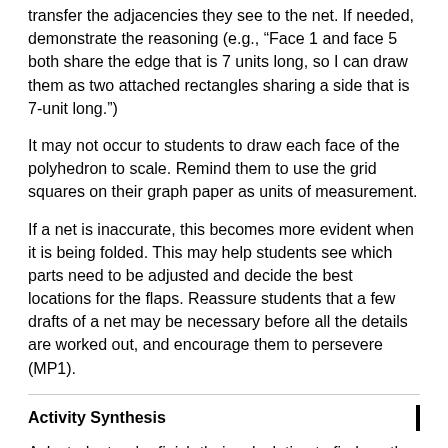transfer the adjacencies they see to the net. If needed, demonstrate the reasoning (e.g., “Face 1 and face 5 both share the edge that is 7 units long, so I can draw them as two attached rectangles sharing a side that is 7-unit long.”)
It may not occur to students to draw each face of the polyhedron to scale. Remind them to use the grid squares on their graph paper as units of measurement.
If a net is inaccurate, this becomes more evident when it is being folded. This may help students see which parts need to be adjusted and decide the best locations for the flaps. Reassure students that a few drafts of a net may be necessary before all the details are worked out, and encourage them to persevere (MP1).
Activity Synthesis
Ask students who finish their calculation to find another person in the class with the same polyhedron and discuss the following questions (displayed for all to see):